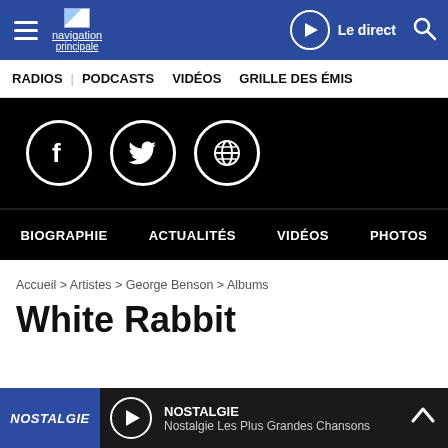Navigation principale | Le direct | Search
RADIOS | PODCASTS | VIDÉOS | GRILLE DES ÉMISSIONS
[Figure (screenshot): Social media icons: Facebook, Twitter, Globe/Website on black background]
BIOGRAPHIE | ACTUALITÉS | VIDÉOS | PHOTOS
Accueil > Artistes > George Benson > Albums
White Rabbit
NOSTALGIE — Nostalgie Les Plus Grandes Chansons